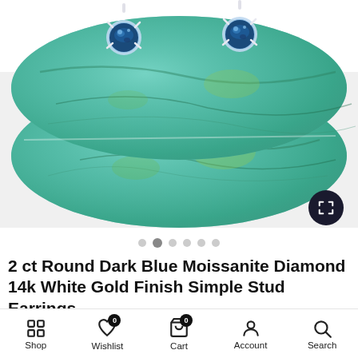[Figure (photo): Two round dark blue moissanite diamond stud earrings in white gold prong settings, displayed on a turquoise/amazonite stone against a white background. An expand/fullscreen button is visible in the bottom right corner of the image.]
2 ct Round Dark Blue Moissanite Diamond 14k White Gold Finish Simple Stud Earrings
Shop | Wishlist (0) | Cart (0) | Account | Search